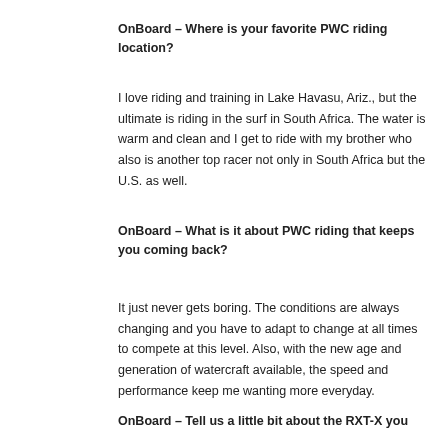OnBoard – Where is your favorite PWC riding location?
I love riding and training in Lake Havasu, Ariz., but the ultimate is riding in the surf in South Africa. The water is warm and clean and I get to ride with my brother who also is another top racer not only in South Africa but the U.S. as well.
OnBoard – What is it about PWC riding that keeps you coming back?
It just never gets boring. The conditions are always changing and you have to adapt to change at all times to compete at this level. Also, with the new age and generation of watercraft available, the speed and performance keep me wanting more everyday.
OnBoard – Tell us a little bit about the RXT-X you